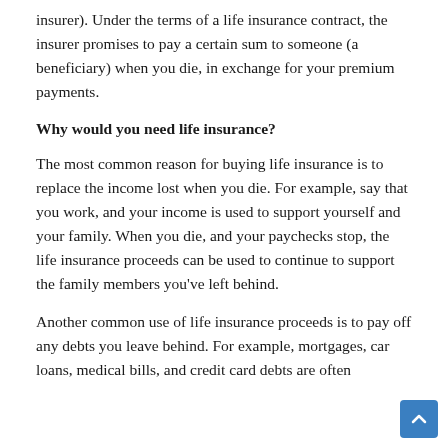insurer). Under the terms of a life insurance contract, the insurer promises to pay a certain sum to someone (a beneficiary) when you die, in exchange for your premium payments.
Why would you need life insurance?
The most common reason for buying life insurance is to replace the income lost when you die. For example, say that you work, and your income is used to support yourself and your family. When you die, and your paychecks stop, the life insurance proceeds can be used to continue to support the family members you've left behind.
Another common use of life insurance proceeds is to pay off any debts you leave behind. For example, mortgages, car loans, medical bills, and credit card debts are often